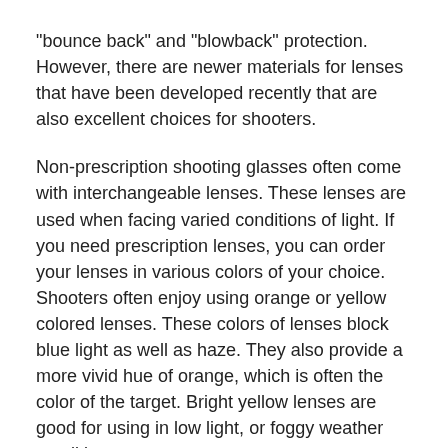“bounce back” and “blowback” protection. However, there are newer materials for lenses that have been developed recently that are also excellent choices for shooters.
Non-prescription shooting glasses often come with interchangeable lenses. These lenses are used when facing varied conditions of light. If you need prescription lenses, you can order your lenses in various colors of your choice. Shooters often enjoy using orange or yellow colored lenses. These colors of lenses block blue light as well as haze. They also provide a more vivid hue of orange, which is often the color of the target. Bright yellow lenses are good for using in low light, or foggy weather conditions.
A light purple lens is particularly good for seeing an orange target when the background is green trees. Purple lenses are made from a mixture of vermillion and gray. Some shooters like vermilion, because this